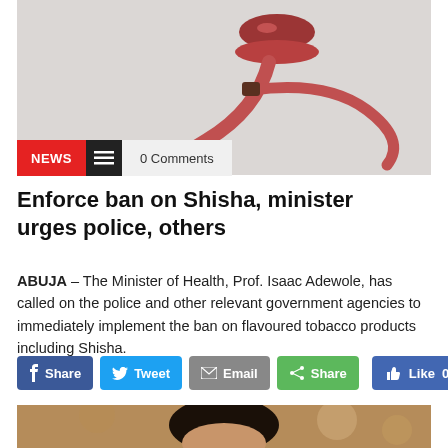[Figure (photo): Photo of a shisha/hookah pipe with a red coiled hose on a light grey background]
NEWS  ☰  0 Comments
Enforce ban on Shisha, minister urges police, others
ABUJA – The Minister of Health, Prof. Isaac Adewole, has called on the police and other relevant government agencies to immediately implement the ban on flavoured tobacco products including Shisha.
Share  Tweet  Email  Share  Like 0
[Figure (photo): Photo showing the top of a person's head with dark hair, part of a news article illustration]